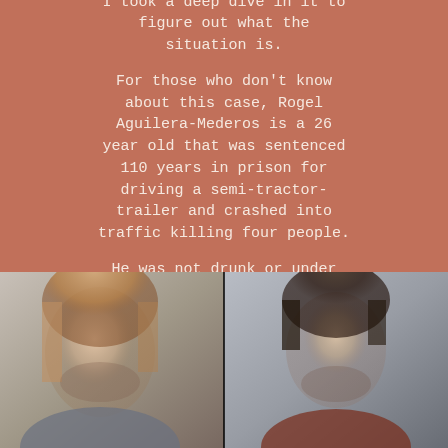Aguilera-Mederos this week. I took a deep dive in it to figure out what the situation is.

For those who don't know about this case, Rogel Aguilera-Mederos is a 26 year old that was sentenced 110 years in prison for driving a semi-tractor-trailer and crashed into traffic killing four people.

He was not drunk or under the influence, his brakes on
[Figure (photo): Two photographs side by side. Left: a middle-aged woman with blonde/reddish hair looking forward with a somber expression. Right: a young man with dark hair in what appears to be a booking/mugshot style photo with a plain background.]